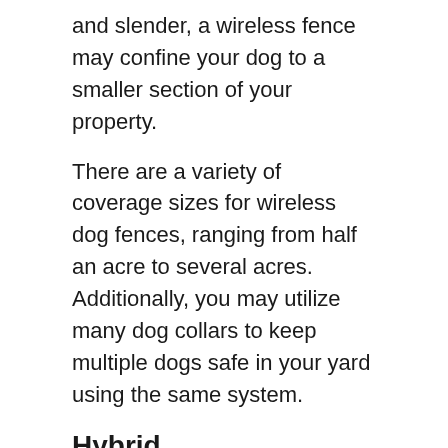and slender, a wireless fence may confine your dog to a smaller section of your property.
There are a variety of coverage sizes for wireless dog fences, ranging from half an acre to several acres. Additionally, you may utilize many dog collars to keep multiple dogs safe in your yard using the same system.
Hybrid
Underground or hybrid invisible fences build a barrier for your dog using a buried wire. They are fully configurable, making them an excellent option for large yards, oddly-shaped estates, and restricted places.
You can place the transmitter for an underground